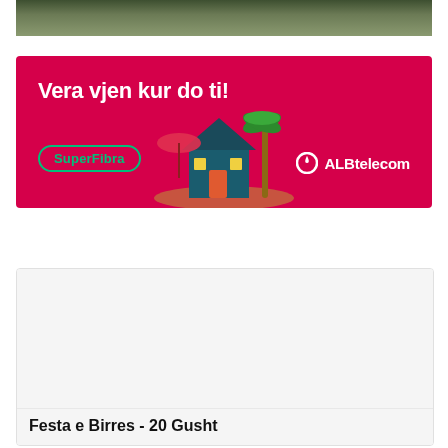[Figure (photo): Top portion of a photo showing trees and buildings, partially cropped at the top of the page]
[Figure (infographic): ALBtelecom advertisement banner with magenta/pink background. Text reads 'Vera vjen kur do ti!' with SuperFibra button label and ALBtelecom logo. Features an illustration of a house with a palm tree.]
[Figure (photo): Article card with image placeholder area and title 'Festa e Birres - 20 Gusht' at the bottom]
Festa e Birres - 20 Gusht